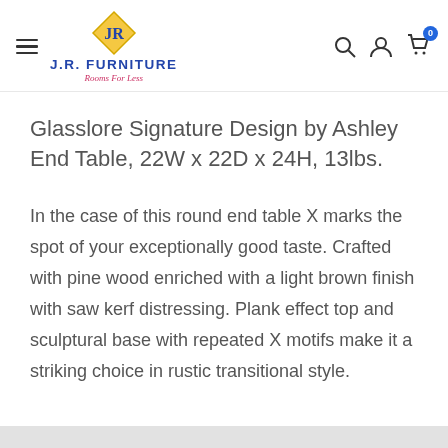J.R. FURNITURE — Rooms For Less (navigation bar with hamburger menu, logo, search, account, and cart icons)
Glasslore Signature Design by Ashley End Table, 22W x 22D x 24H, 13lbs.
In the case of this round end table X marks the spot of your exceptionally good taste. Crafted with pine wood enriched with a light brown finish with saw kerf distressing. Plank effect top and sculptural base with repeated X motifs make it a striking choice in rustic transitional style.